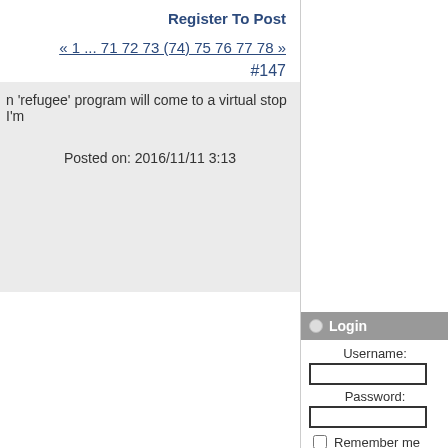Register To Post
« 1 ... 71 72 73 (74) 75 76 77 78 »
#147
n 'refugee' program will come to a virtual stop I'm
Posted on: 2016/11/11 3:13
Login
Username:
Password:
Remember me
User Login